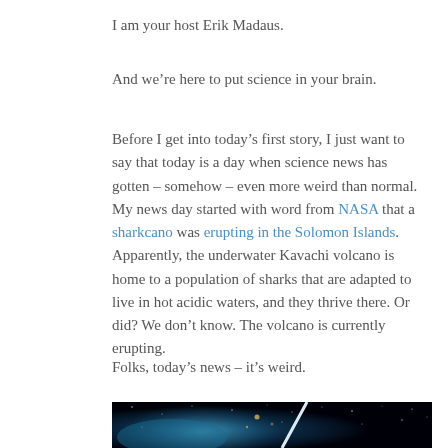I am your host Erik Madaus.
And we’re here to put science in your brain.
Before I get into today’s first story, I just want to say that today is a day when science news has gotten – somehow – even more weird than normal. My news day started with word from NASA that a sharkcano was erupting in the Solomon Islands. Apparently, the underwater Kavachi volcano is home to a population of sharks that are adapted to live in hot acidic waters, and they thrive there. Or did? We don’t know. The volcano is currently erupting.
Folks, today’s news – it’s weird.
[Figure (photo): Astronomical image showing a bright streak of light (possibly a comet or meteor) against a dark space background with stars and a blue nebula or galaxy.]